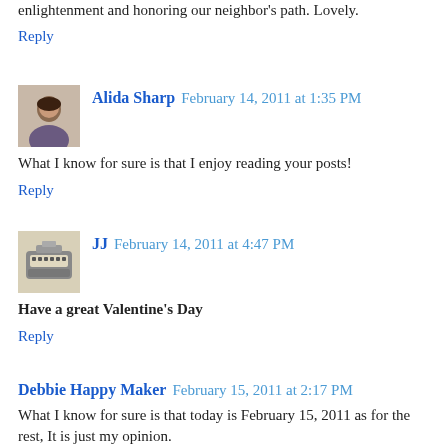enlightenment and honoring our neighbor's path. Lovely.
Reply
Alida Sharp  February 14, 2011 at 1:35 PM
What I know for sure is that I enjoy reading your posts!
Reply
JJ  February 14, 2011 at 4:47 PM
Have a great Valentine's Day
Reply
Debbie Happy Maker  February 15, 2011 at 2:17 PM
What I know for sure is that today is February 15, 2011 as for the rest, It is just my opinion.
It do love the way you make someone think with this post.
Thank you and wishing you a happy day for sure!
Reply